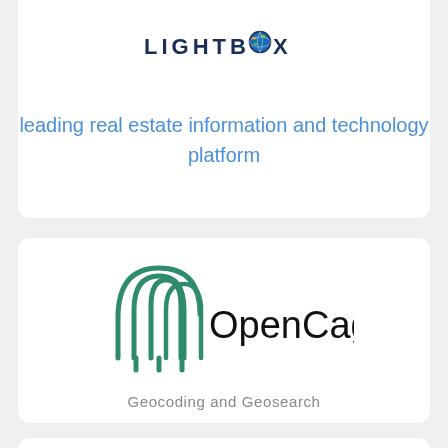[Figure (logo): LightBox logo with stylized globe icon replacing the letter O, dark navy text reading LIGHTBOX in spaced caps]
leading real estate information and technology platform
[Figure (logo): OpenCage logo: green arch/cage graphic with three vertical bars at the bottom, black sans-serif text reading OpenCage]
Geocoding and Geosearch